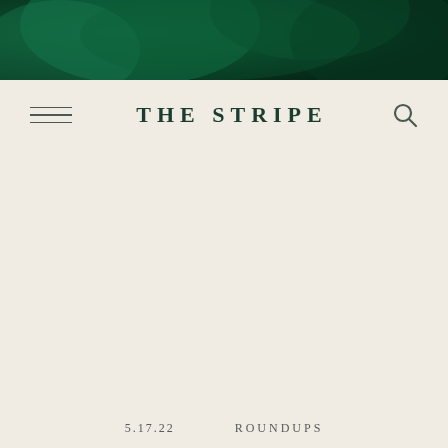[Figure (photo): Dark green botanical/floral image used as hero banner at top of page]
THE STRIPE
5.17.22
ROUNDUPS